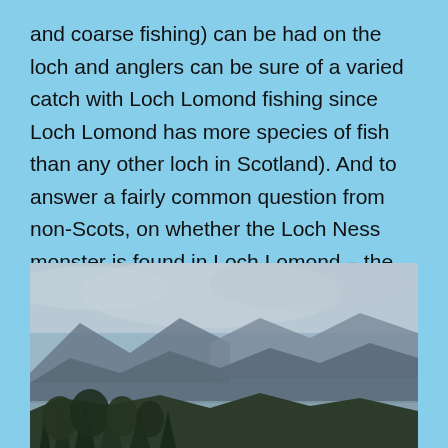and coarse fishing) can be had on the loch and anglers can be sure of a varied catch with Loch Lomond fishing since Loch Lomond has more species of fish than any other loch in Scotland). And to answer a fairly common question from non-Scots, on whether the Loch Ness monster is found in Loch Lomond – the answer is no. It is said to be found in Loch Ness and you can read about that here.
[Figure (photo): Landscape photograph showing misty mountains (likely Scottish Highlands near Loch Lomond), with trees in the foreground, a loch in the middle ground, and cloudy grey sky above. The scene is atmospheric and moody.]